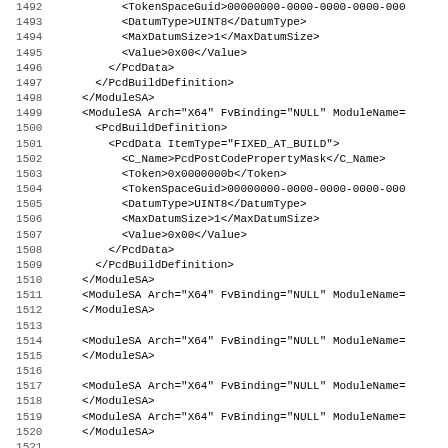XML/code listing lines 1492-1523 showing ModuleSA and PcdBuildDefinition XML elements